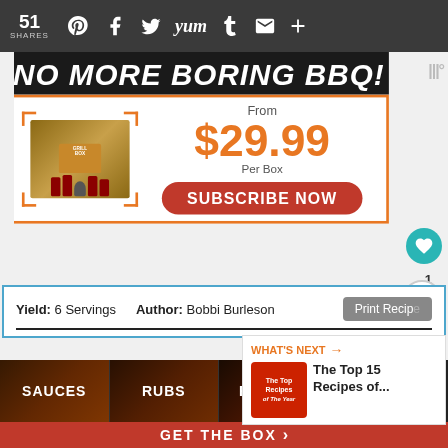51 SHARES
[Figure (infographic): BBQ subscription box advertisement: NO MORE BORING BBQ! From $29.99 Per Box. SUBSCRIBE NOW button.]
Yield: 6 Servings   Author: Bobbi Burleson   Print Recipe
[Figure (infographic): WHAT'S NEXT: The Top 15 Recipes of...]
[Figure (photo): Food photo showing cheese-covered burgers/sliders]
MIL... HIGH
[Figure (infographic): Bottom ad bar: SAUCES | RUBS | RECIPES | GRILL MASTERS CLUB. GET THE BOX >]